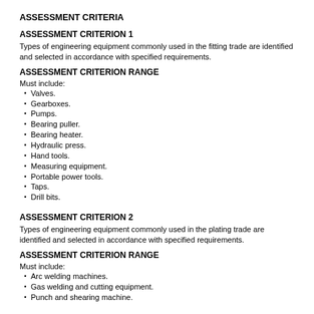ASSESSMENT CRITERIA
ASSESSMENT CRITERION 1
Types of engineering equipment commonly used in the fitting trade are identified and selected in accordance with specified requirements.
ASSESSMENT CRITERION RANGE
Must include:
Valves.
Gearboxes.
Pumps.
Bearing puller.
Bearing heater.
Hydraulic press.
Hand tools.
Measuring equipment.
Portable power tools.
Taps.
Drill bits.
ASSESSMENT CRITERION 2
Types of engineering equipment commonly used in the plating trade are identified and selected in accordance with specified requirements.
ASSESSMENT CRITERION RANGE
Must include:
Arc welding machines.
Gas welding and cutting equipment.
Punch and shearing machine.